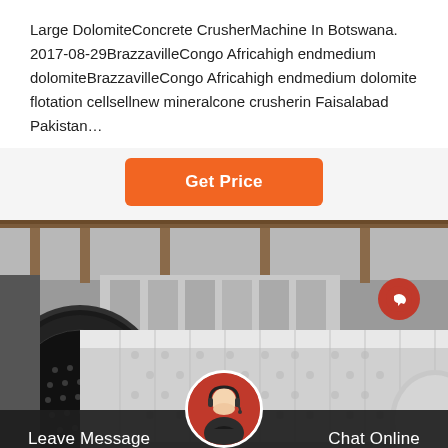Large DolomiteConcrete CrusherMachine In Botswana. 2017-08-29BrazzavilleCongo Africahigh endmedium dolomiteBrazzavilleCongo Africahigh endmedium dolomite flotation cellsellnew mineralcone crusherin Faisalabad Pakistan…
[Figure (other): Orange 'Get Price' button on light gray background]
[Figure (photo): Industrial factory interior showing large cylindrical drum/ball mill machinery with perforated surface, steel framework and roof structure visible in background]
[Figure (other): Dark footer bar with 'Leave Message' on left, customer service avatar in center, 'Chat Online' on right, and red circular button on right side of image]